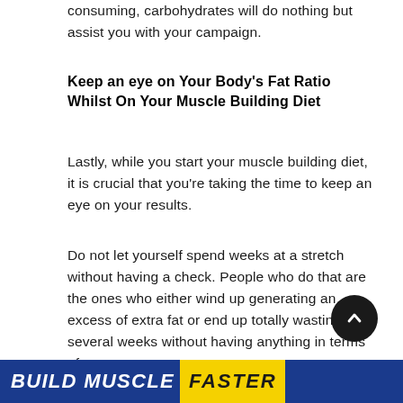consuming, carbohydrates will do nothing but assist you with your campaign.
Keep an eye on Your Body's Fat Ratio Whilst On Your Muscle Building Diet
Lastly, while you start your muscle building diet, it is crucial that you're taking the time to keep an eye on your results.
Do not let yourself spend weeks at a stretch without having a check. People who do that are the ones who either wind up generating an excess of extra fat or end up totally wasting several weeks without having anything in terms of success.
[Figure (other): Blue and yellow banner at bottom with text 'BUILD MUSCLE FASTER' in bold italic letters]